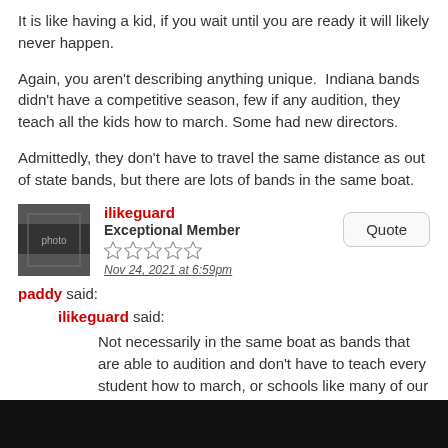It is like having a kid, if you wait until you are ready it will likely never happen.
Again, you aren't describing anything unique.  Indiana bands didn't have a competitive season, few if any audition, they teach all the kids how to march. Some had new directors.
Admittedly, they don't have to travel the same distance as out of state bands, but there are lots of bands in the same boat.
ilikeguard — Exceptional Member — Nov 24, 2021 at 6:59pm
paddy said:
ilikeguard said:
Not necessarily in the same boat as bands that are able to audition and don't have to teach every student how to march, or schools like many of our Texas bands that were able to have a competitive season during the pandemic. Additionally,